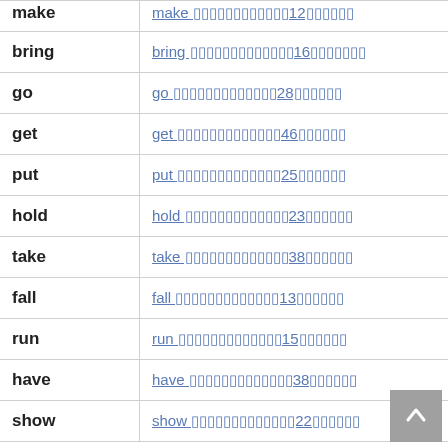| Word | Entry |
| --- | --- |
| make | make □□□□□□□□□□□□12□□□□□□□□ |
| bring | bring □□□□□□□□□□□□□□16□□□□□□□□□ |
| go | go □□□□□□□□□□□□□□28□□□□□□□□ |
| get | get □□□□□□□□□□□□□□46□□□□□□□□ |
| put | put □□□□□□□□□□□□□□25□□□□□□□□ |
| hold | hold □□□□□□□□□□□□□□□23□□□□□□□□ |
| take | take □□□□□□□□□□□□□□38□□□□□□□□ |
| fall | fall □□□□□□□□□□□□□□13□□□□□□□□ |
| run | run □□□□□□□□□□□□□□15□□□□□□□□ |
| have | have □□□□□□□□□□□□□□38□□□□□□□□ |
| show | show □□□□□□□□□□□□□□22□□□□□□□□ |